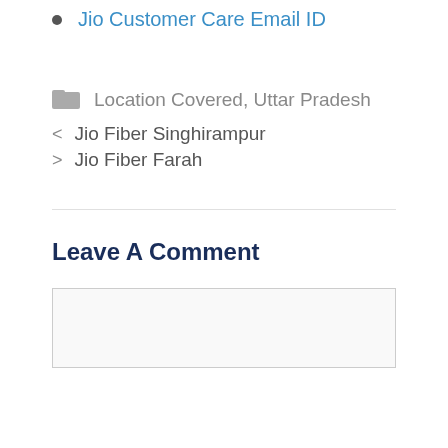Jio Customer Care Email ID
Location Covered, Uttar Pradesh
< Jio Fiber Singhirampur
> Jio Fiber Farah
Leave A Comment